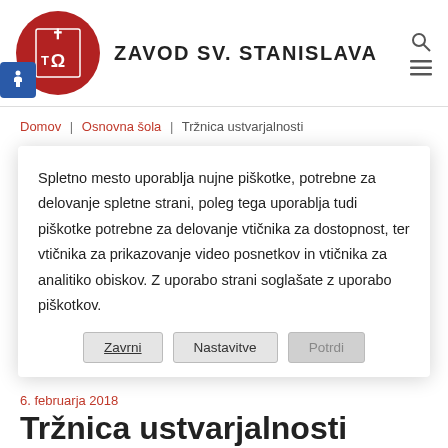ZAVOD SV. STANISLAVA
Domov | Osnovna šola | Tržnica ustvarjalnosti
Spletno mesto uporablja nujne piškotke, potrebne za delovanje spletne strani, poleg tega uporablja tudi piškotke potrebne za delovanje vtičnika za dostopnost, ter vtičnika za prikazovanje video posnetkov in vtičnika za analitiko obiskov. Z uporabo strani soglašate z uporabo piškotkov.
Zavrni  Nastavitve  Potrdi
6. februarja 2018
Tržnica ustvarjalnosti